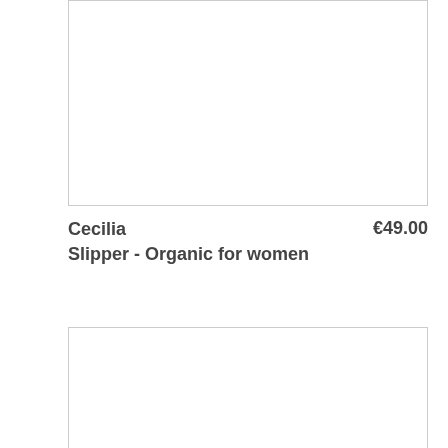[Figure (photo): Product image placeholder box (top), white interior with light gray border]
Cecilia
Slipper - Organic for women
€49.00
[Figure (photo): Product image placeholder box (bottom), white interior with light gray border]